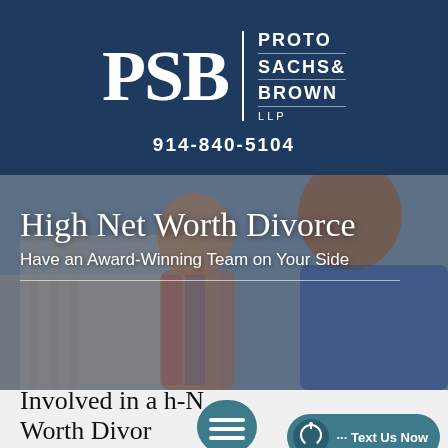[Figure (logo): PSB logo with large letters PSB in white serif font on dark navy background, vertical divider line, firm name PROTO SACHS& BROWN LLP in white sans-serif capital letters]
914-840-5104
[Figure (photo): Hero image showing a couple (man and woman) sitting together, looking downward, overlaid with white text reading High Net Worth Divorce and Have an Award-Winning Team on Your Side, with a horizontal divider line below]
Involved in a High-Net-Worth Divorce
[Figure (illustration): Teal chat bubble icon with three horizontal lines and a Text Us Now button in teal color]